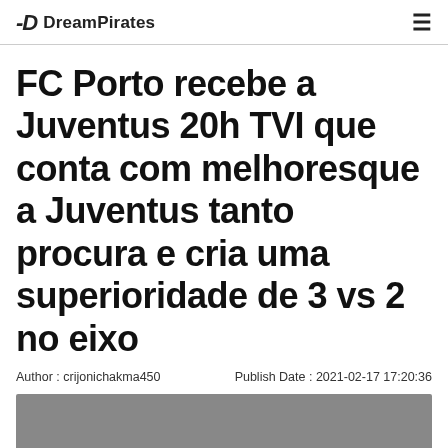DreamPirates
FC Porto recebe a Juventus 20h TVI que conta com melhoresque a Juventus tanto procura e cria uma superioridade de 3 vs 2 no eixo
Author : crijonichakma450    Publish Date : 2021-02-17 17:20:36
[Figure (photo): Gray image placeholder at bottom of article]